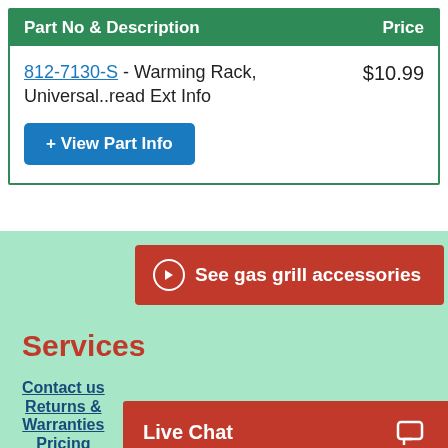| Part No & Description | Price |
| --- | --- |
| 812-7130-S - Warming Rack, Universal..read Ext Info | $10.99 |
See gas grill accessories
Services
Contact us
Returns & Warranties
Pricing
Live Chat